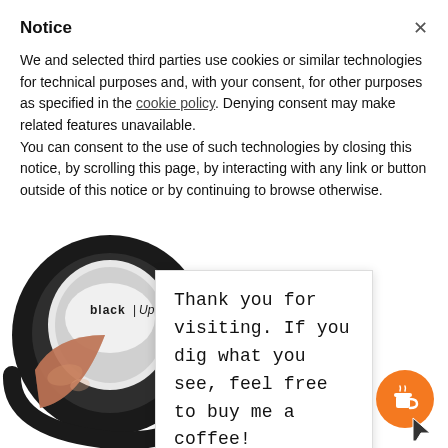Notice
We and selected third parties use cookies or similar technologies for technical purposes and, with your consent, for other purposes as specified in the cookie policy. Denying consent may make related features unavailable.
You can consent to the use of such technologies by closing this notice, by scrolling this page, by interacting with any link or button outside of this notice or by continuing to browse otherwise.
[Figure (photo): Black compact makeup blush (black|Up brand) open showing rose-brown powder]
Thank you for visiting. If you dig what you see, feel free to buy me a coffee!
[Figure (illustration): Orange circular buy-me-a-coffee button with coffee cup icon]